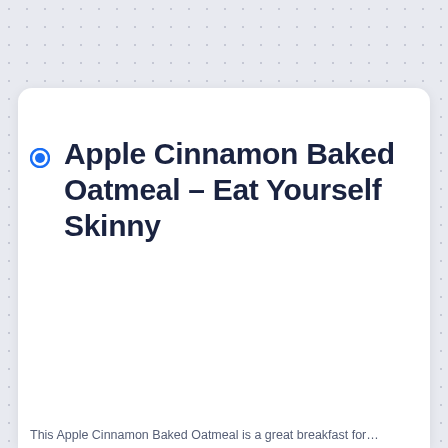Apple Cinnamon Baked Oatmeal – Eat Yourself Skinny
This Apple Cinnamon Baked Oatmeal is a great breakfast for...